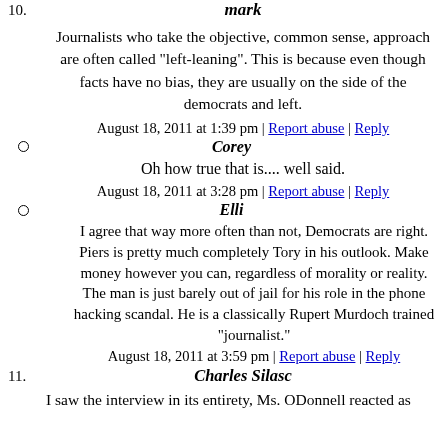10.   mark
Journalists who take the objective, common sense, approach are often called "left-leaning". This is because even though facts have no bias, they are usually on the side of the democrats and left.
August 18, 2011 at 1:39 pm | Report abuse | Reply
Corey
Oh how true that is.... well said.
August 18, 2011 at 3:28 pm | Report abuse | Reply
Elli
I agree that way more often than not, Democrats are right. Piers is pretty much completely Tory in his outlook. Make money however you can, regardless of morality or reality. The man is just barely out of jail for his role in the phone hacking scandal. He is a classically Rupert Murdoch trained "journalist."
August 18, 2011 at 3:59 pm | Report abuse | Reply
11.   Charles Silasc
I saw the interview in its entirety, Ms. ODonnell reacted as